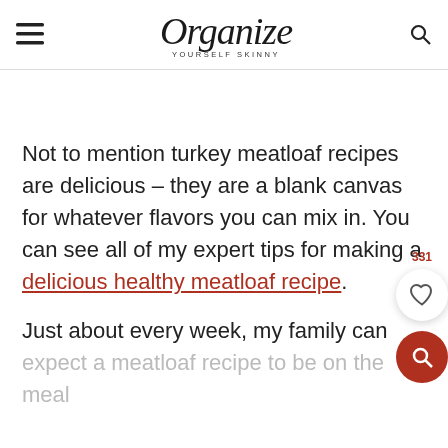Organize Yourself Skinny
Not to mention turkey meatloaf recipes are delicious – they are a blank canvas for whatever flavors you can mix in. You can see all of my expert tips for making a delicious healthy meatloaf recipe.
Just about every week, my family can expect a meatloaf recipe to be on the meal